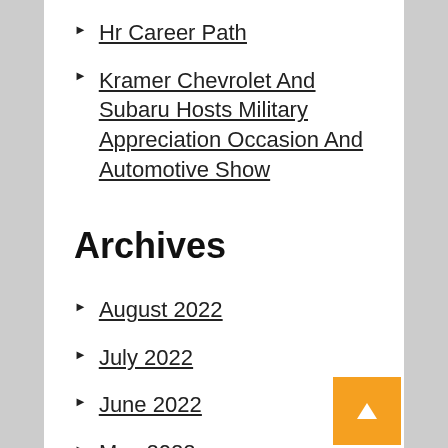Hr Career Path
Kramer Chevrolet And Subaru Hosts Military Appreciation Occasion And Automotive Show
Archives
August 2022
July 2022
June 2022
May 2022
April 2022